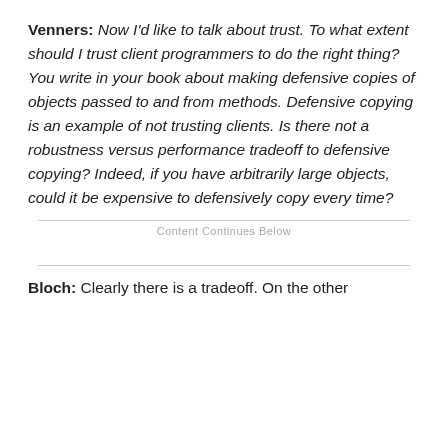Venners: Now I'd like to talk about trust. To what extent should I trust client programmers to do the right thing? You write in your book about making defensive copies of objects passed to and from methods. Defensive copying is an example of not trusting clients. Is there not a robustness versus performance tradeoff to defensive copying? Indeed, if you have arbitrarily large objects, could it be expensive to defensively copy every time?
Content Continues Below
Bloch: Clearly there is a tradeoff. On the other